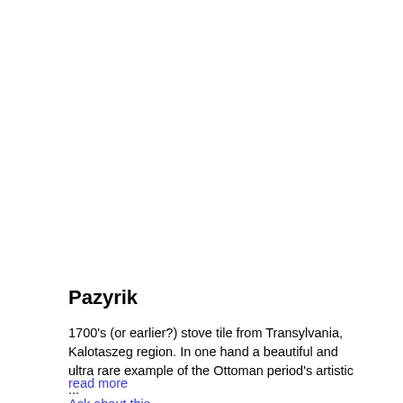[Figure (photo): Large image area showing a stove tile from Transylvania, Kalotaszeg region (image content not visible in this rendering)]
Pazyrik
1700's (or earlier?) stove tile from Transylvania, Kalotaszeg region. In one hand a beautiful and ultra rare example of the Ottoman period's artistic ...
read more
Ask about this